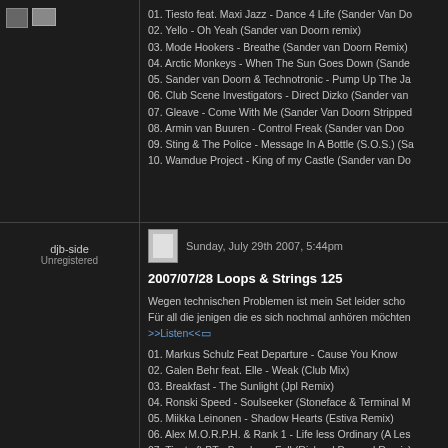01. Tiesto feat. Maxi Jazz - Dance 4 Life (Sander Van Do
02. Yello - Oh Yeah (Sander van Doorn remix)
03. Mode Hookers - Breathe (Sander van Doorn Remix)
04. Arctic Monkeys - When The Sun Goes Down (Sande
05. Sander van Doorn & Technotronic - Pump Up The Ja
06. Club Scene Investigators - Direct Dizko (Sander van
07. Gleave - Come With Me (Sander Van Doorn Stripped
08. Armin van Buuren - Control Freak (Sander van Doo
09. Sting & The Police - Message In A Bottle (S.O.S.) (Sa
10. Wamdue Project - King of my Castle (Sander van Do
djb-side
Unregistered
Sunday, July 29th 2007, 5:44pm
2007/07/28 Loops & Strings 125
Wegen technischen Problemen ist mein Set leider scho
Für all die jenigen die es sich nochmal anhören möchten
>>Listen<<
01. Markus Schulz Feat Departure - Cause You Know
02. Galen Behr feat. Elle - Weak (Club Mix)
03. Breakfast - The Sunlight (Jpl Remix)
04. Ronski Speed - Soulseeker (Stoneface & Terminal M
05. Miikka Leinonen - Shadow Hearts (Estiva Remix)
06. Alex M.O.R.P.H. & Rank 1 - Life less Ordinary (A Les
07. Tiesto ft BT - Break my Fall (Richard Durrand Remix)
08. Shy Brothers - Feeling Like (Stoneface & Terminal Re
09. Vincent de Moor - No Hesitation (Artic Quest Remix)
10. Nature One Inc - Das Dreizehnte Land (Tillmann Uh